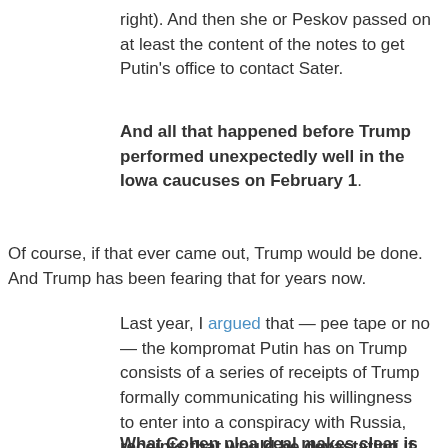right). And then she or Peskov passed on at least the content of the notes to get Putin’s office to contact Sater.
And all that happened before Trump performed unexpectedly well in the Iowa caucuses on February 1.
Of course, if that ever came out, Trump would be done. And Trump has been fearing that for years now.
Last year, I argued that — pee tape or no — the kompromat Putin has on Trump consists of a series of receipts of Trump formally communicating his willingness to enter into a conspiracy with Russia, receipts that would be devastating if Putin released them.
What Cohen plea deal makes clear is that Putin pocketed the first of those receipts — a